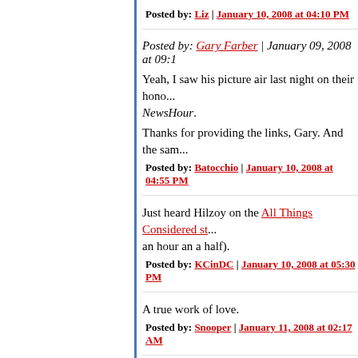Posted by: Liz | January 10, 2008 at 04:10 PM
Posted by: Gary Farber | January 09, 2008 at 09:1...
Yeah, I saw his picture air last night on their honor... NewsHour.
Thanks for providing the links, Gary. And the sam...
Posted by: Batocchio | January 10, 2008 at 04:55 PM
Just heard Hilzoy on the All Things Considered st... an hour an a half).
Posted by: KCinDC | January 10, 2008 at 05:30 PM
A true work of love.
Posted by: Snooper | January 11, 2008 at 02:17 AM
I heard the NPR story, too, last night. Points well t... was well done, touching, and a nice tribute. Than...